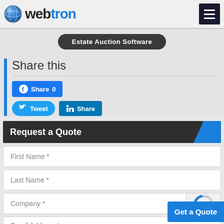[Figure (logo): Webtron logo with globe icon and blue 'tron' text]
Estate Auction Software
Share this
Share 0
Tweet
Share
Request a Quote
First Name *
Last Name *
Company *
Email Address *
Get a Quote